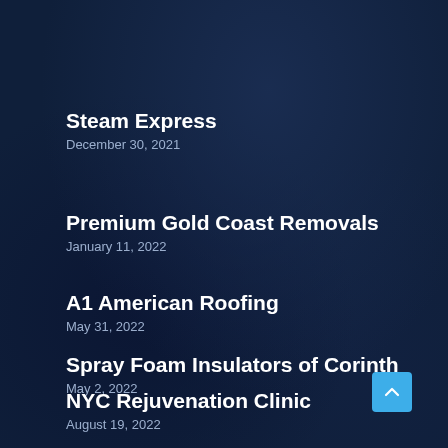Steam Express
December 30, 2021
Premium Gold Coast Removals
January 11, 2022
A1 American Roofing
May 31, 2022
Spray Foam Insulators of Corinth
May 2, 2022
NYC Rejuvenation Clinic
August 19, 2022